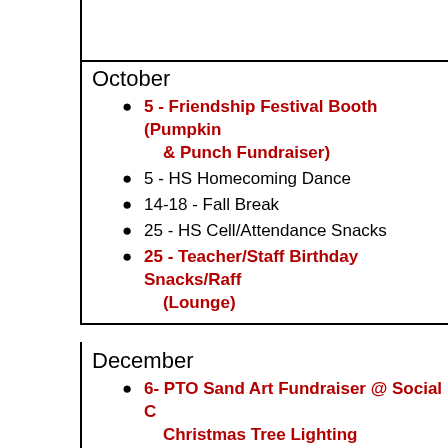October
5 - Friendship Festival Booth (Pumpkin & Punch Fundraiser)
5 - HS Homecoming Dance
14-18 - Fall Break
25 - HS Cell/Attendance Snacks
25 - Teacher/Staff Birthday Snacks/Raff (Lounge)
December
6- PTO Sand Art Fundraiser @ Social C Christmas Tree Lighting
6 - PTO HS Student Breakfast
12 - PTO Holiday Soup & Salad Teacher Luncheon
12 - HS Cell/Attendance Snacks
12 - Teacher/Staff Birthday Snacks/Raf (Lounge)